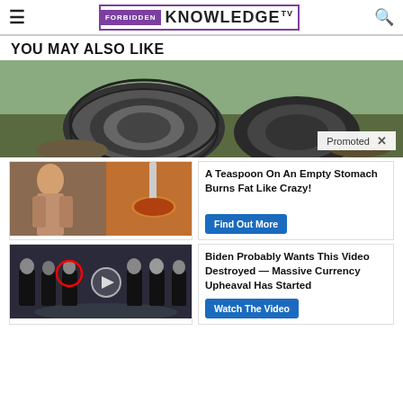Forbidden Knowledge TV
YOU MAY ALSO LIKE
[Figure (photo): Close-up photo of a large metal bearing/mechanical component on rocky ground with greenery in background. Promoted content badge visible.]
[Figure (photo): Fitness/food collage: person with abs, spices on a spoon.]
A Teaspoon On An Empty Stomach Burns Fat Like Crazy!
Find Out More
[Figure (photo): Group of men in suits at CIA headquarters, video play button overlay, one man circled in red.]
Biden Probably Wants This Video Destroyed — Massive Currency Upheaval Has Started
Watch The Video